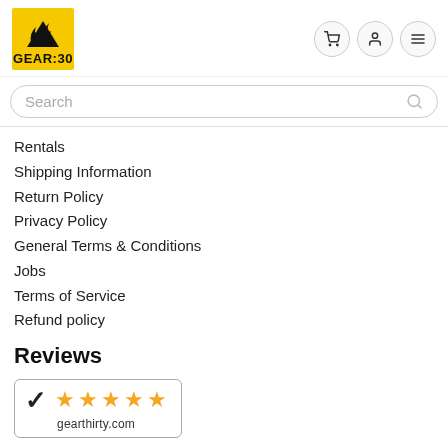GEAR:30 navigation header with logo and icons
Search
Rentals
Shipping Information
Return Policy
Privacy Policy
General Terms & Conditions
Jobs
Terms of Service
Refund policy
Reviews
[Figure (logo): Shopper Approved badge showing 5 stars and gearthirty.com]
Shopper Approved Reviews